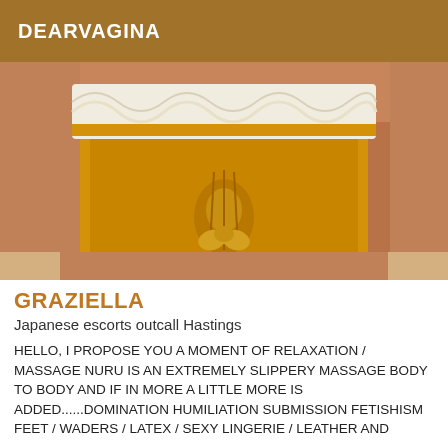DEARVAGINA
[Figure (photo): Close-up photo of a person wearing a yellow corset/lingerie with white ruffled trim, viewed from behind, lying down]
GRAZIELLA
Japanese escorts outcall Hastings
HELLO, I PROPOSE YOU A MOMENT OF RELAXATION / MASSAGE NURU IS AN EXTREMELY SLIPPERY MASSAGE BODY TO BODY AND IF IN MORE A LITTLE MORE IS ADDED......DOMINATION HUMILIATION SUBMISSION FETISHISM FEET / WADERS / LATEX / SEXY LINGERIE / LEATHER AND